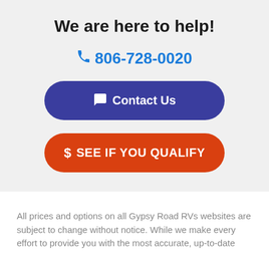We are here to help!
📞 806-728-0020
[Figure (other): Blue rounded button with chat icon and text 'Contact Us']
[Figure (other): Orange rounded button with dollar sign icon and text 'SEE IF YOU QUALIFY']
All prices and options on all Gypsy Road RVs websites are subject to change without notice. While we make every effort to provide you with the most accurate, up-to-date